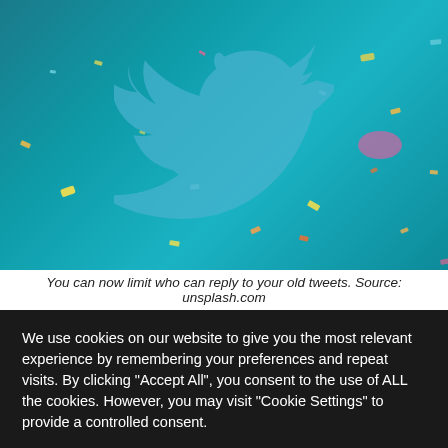[Figure (photo): Twitter bird logo on a teal background with colorful confetti scattered throughout the image]
You can now limit who can reply to your old tweets. Source: unsplash.com
We use cookies on our website to give you the most relevant experience by remembering your preferences and repeat visits. By clicking "Accept All", you consent to the use of ALL the cookies. However, you may visit "Cookie Settings" to provide a controlled consent.
Cookie Settings
Accept All